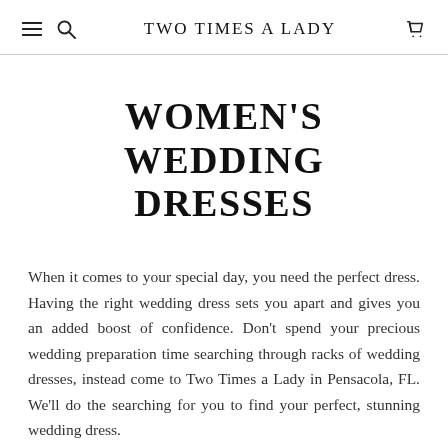TWO TIMES A LADY
WOMEN'S WEDDING DRESSES
When it comes to your special day, you need the perfect dress. Having the right wedding dress sets you apart and gives you an added boost of confidence. Don't spend your precious wedding preparation time searching through racks of wedding dresses, instead come to Two Times a Lady in Pensacola, FL. We'll do the searching for you to find your perfect, stunning wedding dress.